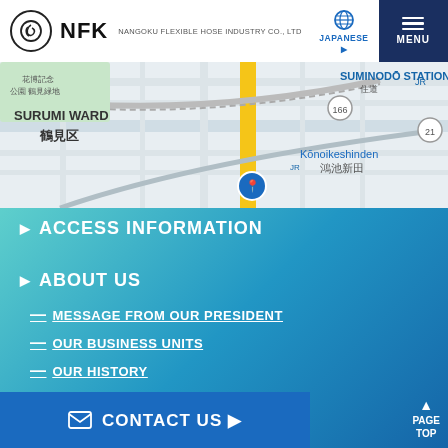[Figure (screenshot): NFK (Nangoku Flexible Hose Industry Co., Ltd) website header with logo, Japanese language toggle, and menu button. Below is a Google Maps screenshot showing Tsurumi Ward area in Osaka, Japan with SURUMI WARD / 鶴見区, SUMINODŌ STATION / 住道, Kōnoikeshinden / 鴻池新田, 花博記念公園 鶴見緑地, road numbers 166, 21.]
ACCESS INFORMATION
ABOUT US
MESSAGE FROM OUR PRESIDENT
OUR BUSINESS UNITS
OUR HISTORY
COMPANY OVERVIEW
OUR QUALITY POLICY
PRODUCTS
CONTACT US ▶